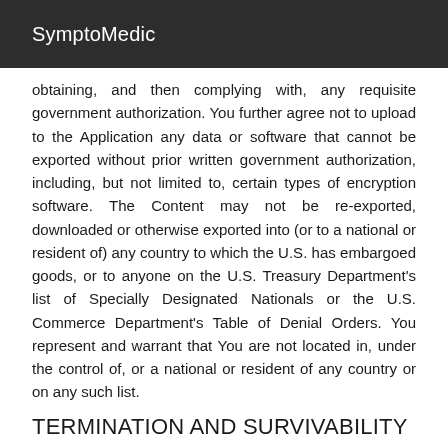SymptoMedic
obtaining, and then complying with, any requisite government authorization. You further agree not to upload to the Application any data or software that cannot be exported without prior written government authorization, including, but not limited to, certain types of encryption software. The Content may not be re-exported, downloaded or otherwise exported into (or to a national or resident of) any country to which the U.S. has embargoed goods, or to anyone on the U.S. Treasury Department's list of Specially Designated Nationals or the U.S. Commerce Department's Table of Denial Orders. You represent and warrant that You are not located in, under the control of, or a national or resident of any country or on any such list.
TERMINATION AND SURVIVABILITY
These Terms of Use are effective until terminated. SymptoMedic may terminate these Terms of Use with or without notice to You by terminating Your Account as set forth in Section 3 (User